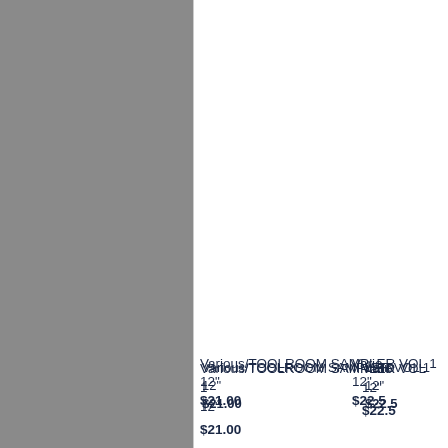[Figure (other): Gray panel on the left side of the page, approximately 43% of page width]
Various/TOOLROOM SAMPLER VOL 1 12"
$21.00
Various (truncated) 12"
$22.5 (truncated)
Various/TRACKS FROM THE ALLEY VOL 2 12"
$21.00
Various (truncated) 12"
$18.0 (truncated)